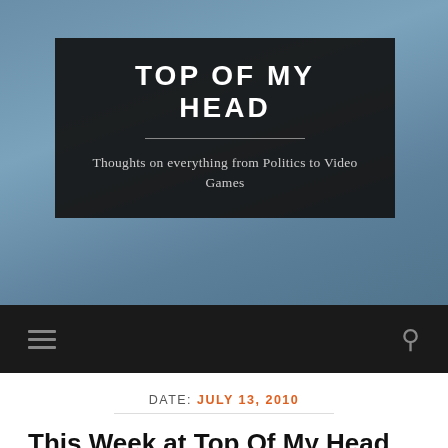[Figure (photo): Blue ocean/water background photo used as header image]
TOP OF MY HEAD
Thoughts on everything from Politics to Video Games
Navigation bar with hamburger menu and search icon
DATE: JULY 13, 2010
This Week at Top Of My Head...
JULY 13, 2010 / COMMENTS OFF
Here's what I'm reading and playing this week at Top Of